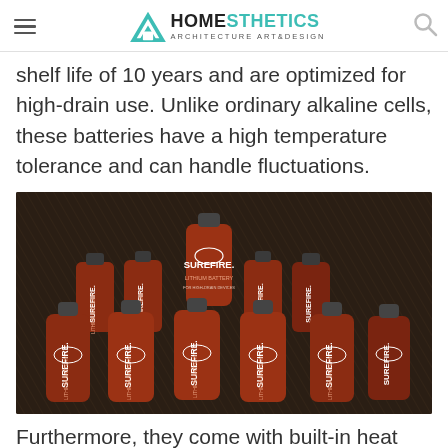HOMESTHETICS ARCHITECTURE ART&DESIGN
shelf life of 10 years and are optimized for high-drain use. Unlike ordinary alkaline cells, these batteries have a high temperature tolerance and can handle fluctuations.
[Figure (photo): Multiple SureFire lithium batteries (CR123A type) arranged in a group on a dark textured surface. The batteries are dark red/maroon with white SureFire branding text. One battery is elevated above the others in the center.]
Furthermore, they come with built-in heat and fault (short-